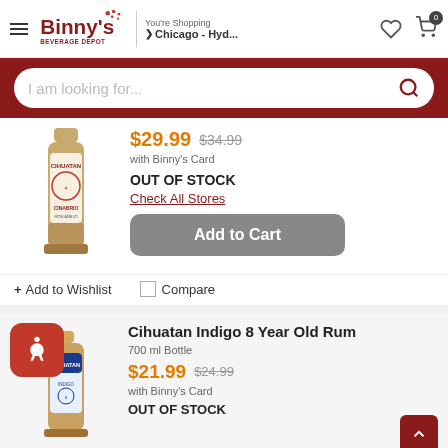Binny's Beverage Depot — You're Shopping Chicago - Hyd...
I am looking for...
[Figure (photo): Bottle of Cihuatan Cinabrio rum, amber colored bottle with colorful label]
$29.99  $34.99 with Binny's Card
OUT OF STOCK
Check All Stores
Add to Cart
+ Add to Wishlist
Compare
Cihuatan Indigo 8 Year Old Rum
700 ml Bottle
$21.99  $24.99 with Binny's Card
OUT OF STOCK
[Figure (photo): Bottle of Cihuatan Indigo 8 Year Old Rum with blue label]